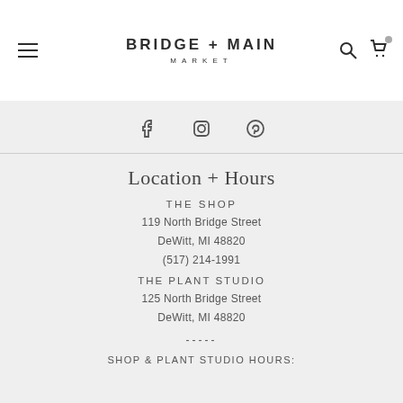BRIDGE + MAIN MARKET
[Figure (infographic): Social media icons: Facebook, Instagram, Pinterest]
Location + Hours
THE SHOP
119 North Bridge Street
DeWitt, MI 48820
(517) 214-1991
THE PLANT STUDIO
125 North Bridge Street
DeWitt, MI 48820
-----
SHOP & PLANT STUDIO HOURS: